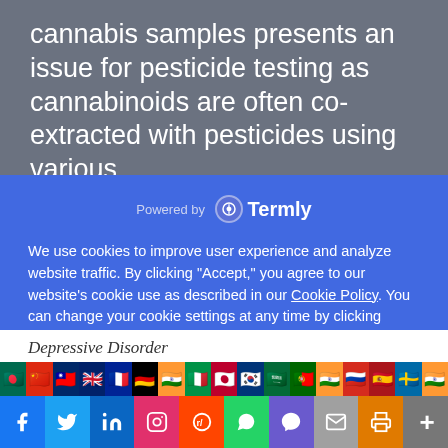cannabis samples presents an issue for pesticide testing as cannabinoids are often co-extracted with pesticides using various
Powered by Termly
We use cookies to improve user experience and analyze website traffic. By clicking “Accept,” you agree to our website’s cookie use as described in our Cookie Policy. You can change your cookie settings at any time by clicking “Preferences.”
DECLINE
ACCEPT
PREFERENCES
Depressive Disorder
[Figure (infographic): Row of country flag emoji icons for language selection]
[Figure (infographic): Row of social media share buttons: Facebook, Twitter, LinkedIn, Instagram, Reddit, WhatsApp, Messenger, Email, Print, More]